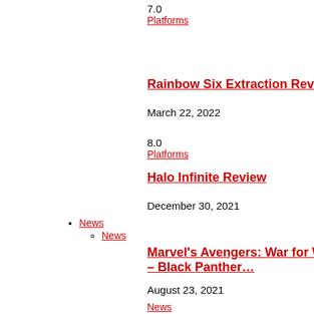7.0
Platforms
Rainbow Six Extraction Review
March 22, 2022
8.0
Platforms
Halo Infinite Review
December 30, 2021
News
News
Marvel's Avengers: War for Wakanda – Black Panther…
August 23, 2021
News